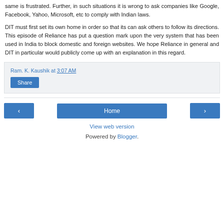same is frustrated. Further, in such situations it is wrong to ask companies like Google, Facebook, Yahoo, Microsoft, etc to comply with Indian laws.
DIT must first set its own home in order so that its can ask others to follow its directions. This episode of Reliance has put a question mark upon the very system that has been used in India to block domestic and foreign websites. We hope Reliance in general and DIT in particular would publicly come up with an explanation in this regard.
Ram. K. Kaushik at 3:07 AM
Share
Home
View web version
Powered by Blogger.